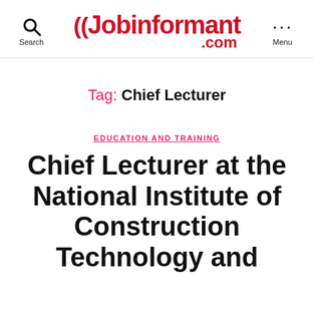Search | Jobinformant .com | Menu
Tag: Chief Lecturer
EDUCATION AND TRAINING
Chief Lecturer at the National Institute of Construction Technology and